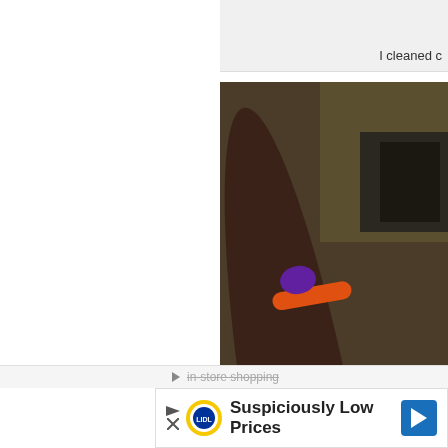I cleaned c
[Figure (photo): A close-up photo showing a dark-skinned arm/leg resting on a gray couch cushion, with an orange and purple accessory/bracelet visible near the top. Background shows a dark olive-colored wall and dark furniture.]
X
in-store shopping
Suspiciously Low Prices